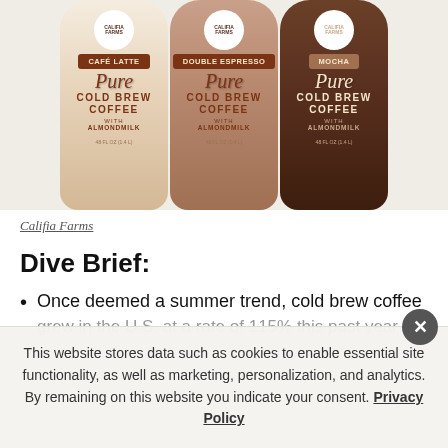[Figure (photo): Three Califia Farms Pure Cold Brew Coffee with Almondmilk bottles: Cafe Latte (cream/beige), Double Espresso (tan/brown), and Mocha (dark brown)]
Califia Farms
Dive Brief:
Once deemed a summer trend, cold brew coffee grew in the U.S. at a rate of 115% this past year
This website stores data such as cookies to enable essential site functionality, as well as marketing, personalization, and analytics. By remaining on this website you indicate your consent. Privacy Policy